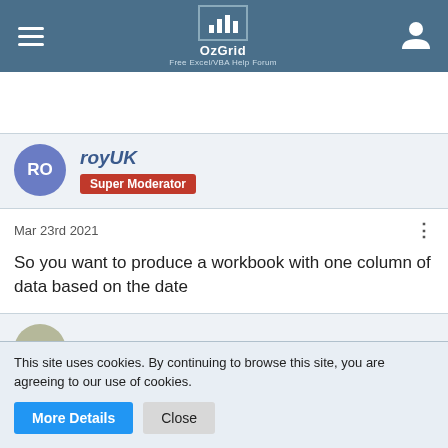OzGrid Free Excel/VBA Help Forum
royUK Super Moderator
Mar 23rd 2021
So you want to produce a workbook with one column of data based on the date
Mortenhoey
This site uses cookies. By continuing to browse this site, you are agreeing to our use of cookies.